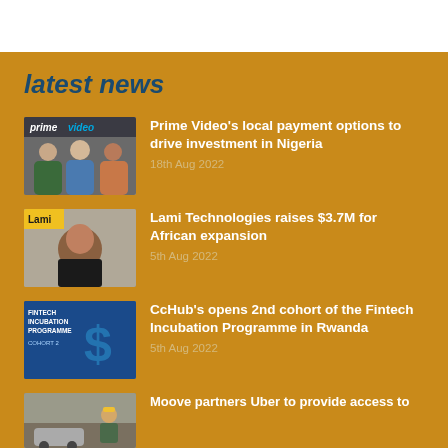latest news
[Figure (photo): Three people standing together in front of Prime Video branding]
Prime Video's local payment options to drive investment in Nigeria
18th Aug 2022
[Figure (photo): Woman smiling in front of Lami branding]
Lami Technologies raises $3.7M for African expansion
5th Aug 2022
[Figure (photo): Fintech Incubation Programme Cohort 2 promotional graphic with dollar sign]
CcHub's opens 2nd cohort of the Fintech Incubation Programme in Rwanda
5th Aug 2022
[Figure (photo): Moove vehicle or street scene]
Moove partners Uber to provide access to